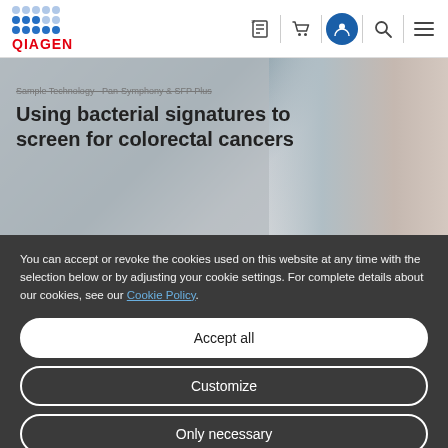[Figure (logo): QIAGEN logo with blue dot grid and red QIAGEN text]
[Figure (screenshot): Website navigation header with icons for history, cart, user account, search, and menu]
Using bacterial signatures to screen for colorectal cancers
You can accept or revoke the cookies used on this website at any time with the selection below or by adjusting your cookie settings. For complete details about our cookies, see our Cookie Policy.
Accept all
Customize
Only necessary